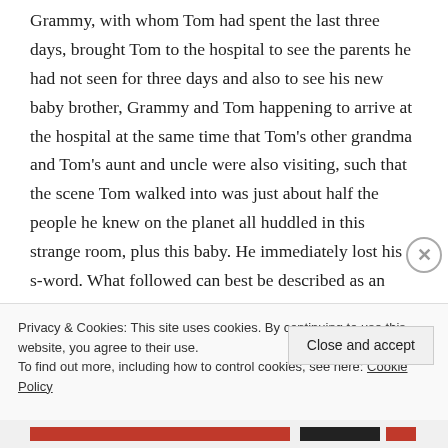Grammy, with whom Tom had spent the last three days, brought Tom to the hospital to see the parents he had not seen for three days and also to see his new baby brother, Grammy and Tom happening to arrive at the hospital at the same time that Tom's other grandma and Tom's aunt and uncle were also visiting, such that the scene Tom walked into was just about half the people he knew on the planet all huddled in this strange room, plus this baby. He immediately lost his s-word. What followed can best be described as an existential meltdown—think Luke Skywalker after finding out
Privacy & Cookies: This site uses cookies. By continuing to use this website, you agree to their use.
To find out more, including how to control cookies, see here: Cookie Policy
Close and accept